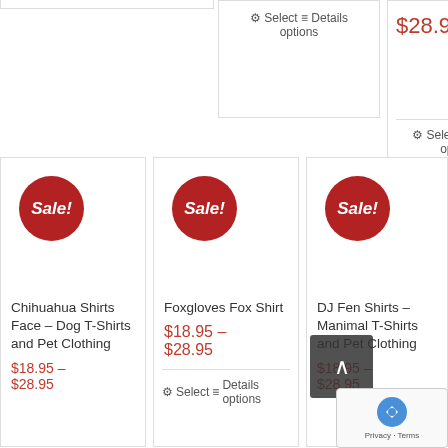[Figure (screenshot): Partial top-left product card border]
Select options | Details
$28.95
Select options | Details
[Figure (illustration): Sale! badge - red circle with white italic text]
Chihuahua Shirts Face – Dog T-Shirts and Pet Clothing
$18.95 – $28.95
[Figure (illustration): Sale! badge - red circle with white italic text]
Foxgloves Fox Shirt
$18.95 – $28.95
Select options | Details
[Figure (illustration): Sale! badge - red circle with white italic text]
DJ Fen Shirts – Manimal T-Shirts and Pet Clothing
$18.95 – $28.95